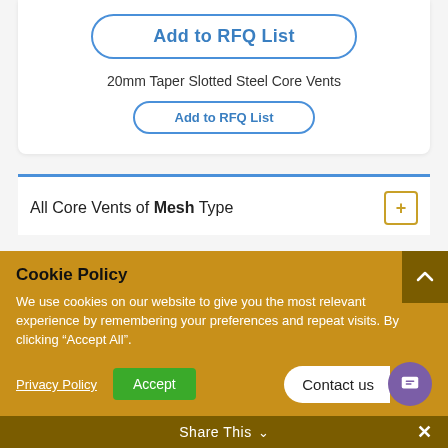Add to RFQ List
20mm Taper Slotted Steel Core Vents
Add to RFQ List
All Core Vents of Mesh Type
Cookie Policy
We use cookies on our website to give you the most relevant experience by remembering your preferences and repeat visits. By clicking “Accept All”.
Privacy Policy
Accept
Contact us
Share This